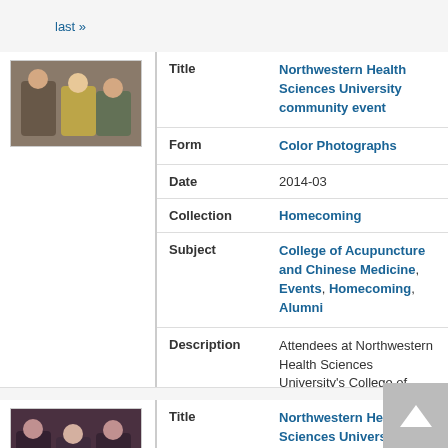last »
[Figure (photo): Thumbnail photo of people at Northwestern Health Sciences University community event]
| Title | Northwestern Health Sciences University community event |
| Form | Color Photographs |
| Date | 2014-03 |
| Collection | Homecoming |
| Subject | College of Acupuncture and Chinese Medicine, Events, Homecoming, Alumni |
| Description | Attendees at Northwestern Health Sciences University's College of Acupuncture and Chinese Medicine Homecoming, 2014-03. |
| Copyright Status | copyrighted |
[Figure (photo): Thumbnail photo of Northwestern Health Sciences University community members]
| Title | Northwestern Health Sciences University community members |
| Form | Color Photographs |
| Date | 2014-03 |